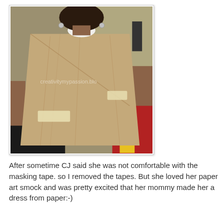[Figure (photo): A person seen from behind wearing a handmade paper art smock (a large brown paper bag shaped into a dress/smock) with masking tape visible on the back. The person has short dark hair and hoop earrings.]
After sometime CJ said she was not comfortable with the masking tape. so I removed the tapes. But she loved her paper art smock and was pretty excited that her mommy made her a dress from paper:-)
The advantage of this art smock - it's recyclable!